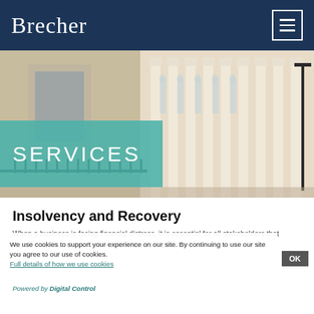Brecher
[Figure (photo): Photograph of a classical building facade with tall white columns, ornate architecture, street lamp visible on the right side]
SERVICES
Insolvency and Recovery
When a business is facing financial distress, it is essential for all stakeholders that expedient, practical advice and strategies are provided.
We use cookies to support your experience on our site. By continuing to use our site you agree to our use of cookies. Full details of how we use cookies
Powered by Digital Control